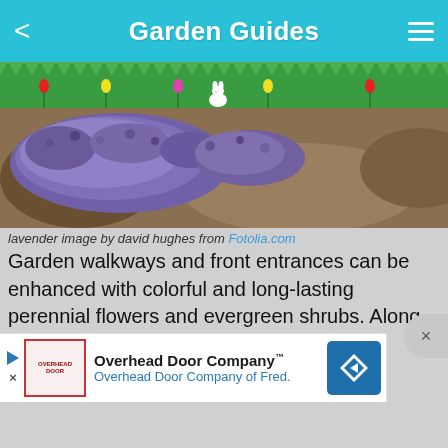Garden Guides
[Figure (photo): Lavender field with purple flowering plants and brown soil]
lavender image by david hughes from Fotolia.com
Garden walkways and front entrances can be enhanced with colorful and long-lasting perennial flowers and evergreen shrubs. Along the curved lines of your walkway or entrance you can add colorful plants to help define the path and add visual interest. You can also include fragrant plants to enhance the sensory experience of your garden path or front walkwa…
[Figure (screenshot): Advertisement banner for Overhead Door Company with logo and text: Overhead Door Company™, Overhead Door Company of Fred.]